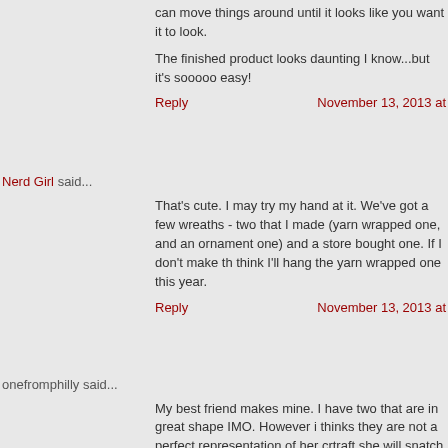can move things around until it looks like you want it to look.
The finished product looks daunting I know...but it's sooooo easy!
Reply
November 13, 2013 at
Nerd Girl said...
That's cute. I may try my hand at it. We've got a few wreaths - two that I made (yarn wrapped one, and an ornament one) and a store bought one. If I don't make this one, I think I'll hang the yarn wrapped one this year.
Reply
November 13, 2013 at
onefromphilly said...
My best friend makes mine. I have two that are in great shape IMO. However if she thinks they are not a perfect representation of her crtraft she will snatch mine d replace them with new ones, so I might be getting some new ones this year.
Reply
November 13, 2013 at
onefromphilly said...